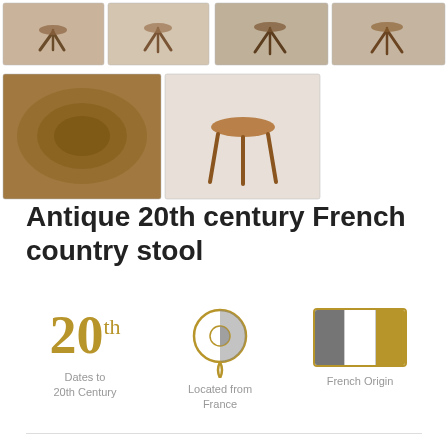[Figure (photo): Top row of 4 thumbnail photos of antique wooden stool from different angles]
[Figure (photo): Bottom row of 2 larger thumbnail photos: close-up of wooden seat surface and full view of three-legged stool]
Antique 20th century French country stool
[Figure (infographic): Three info icons: '20th - Dates to 20th Century', location pin 'Located from France', color swatch 'French Origin']